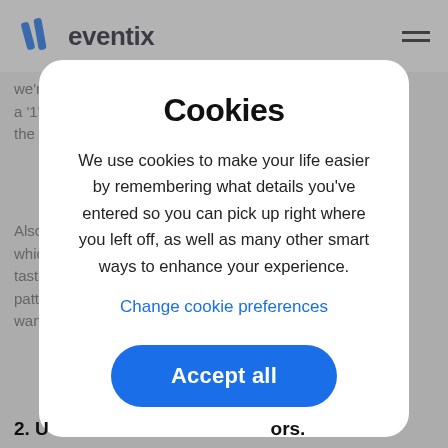eventix
we're ... ee a '1' ... a '0' the ...
Also ... n, whic... er tast... his patt... may wan... ge'.
Cookies
We use cookies to make your life easier by remembering what details you've entered so you can pick up right where you left off, as well as many other smart ways to enhance your experience.
Change cookie preferences
Accept all
2. U...ors.
The ... nd, believe it or not; our customer database is invaluable in this respect. You can expect any potential sponsor...